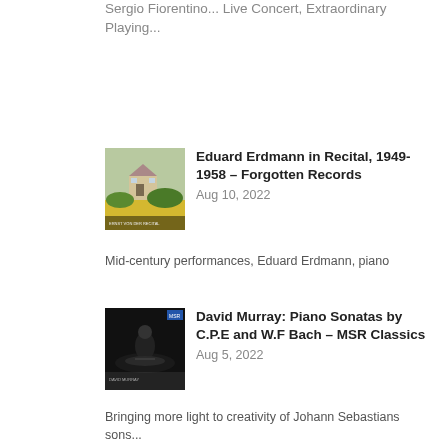Sergio Fiorentino... Live Concert, Extraordinary Playing...
[Figure (photo): Album cover for Eduard Erdmann in Recital 1949-1958, showing a rural landscape with a house and yellow flowers]
Eduard Erdmann in Recital, 1949-1958 – Forgotten Records
Aug 10, 2022
Mid-century performances, Eduard Erdmann, piano
[Figure (photo): Album cover for David Murray Piano Sonatas, dark moody image of a pianist at a grand piano]
David Murray: Piano Sonatas by C.P.E and W.F Bach – MSR Classics
Aug 5, 2022
Bringing more light to creativity of Johann Sebastians sons...